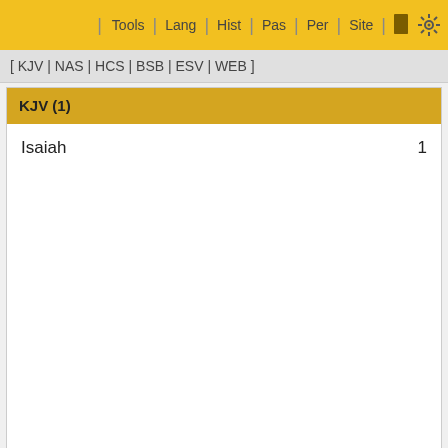Tools | Lang | Hist | Pas | Per | Site
[ KJV | NAS | HCS | BSB | ESV | WEB ]
KJV (1)
Isaiah  1
Verse Results